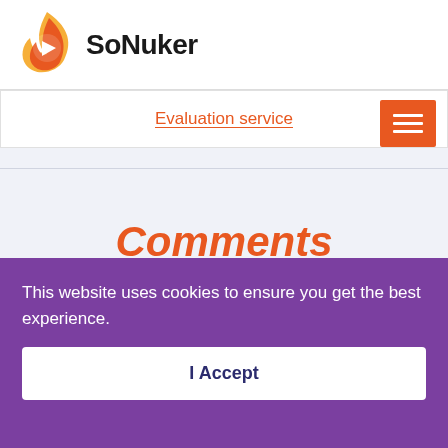[Figure (logo): SoNuker logo with orange flame/play button icon and bold black text 'SoNuker']
Evaluation service
Comments
What do you think?
4 Responses
This website uses cookies to ensure you get the best experience.
I Accept